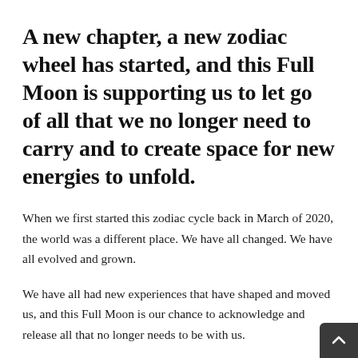A new chapter, a new zodiac wheel has started, and this Full Moon is supporting us to let go of all that we no longer need to carry and to create space for new energies to unfold.
When we first started this zodiac cycle back in March of 2020, the world was a different place. We have all changed. We have all evolved and grown.
We have all had new experiences that have shaped and moved us, and this Full Moon is our chance to acknowledge and release all that no longer needs to be with us.
The Libra energy of this Full Moon also supports us in